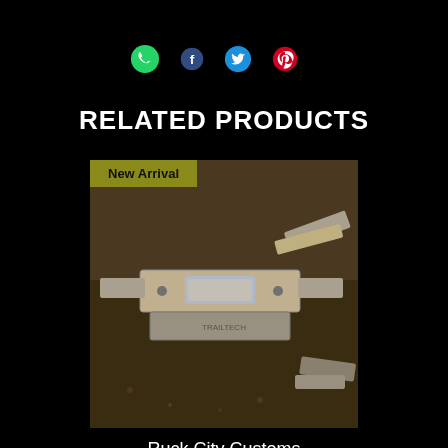[Figure (infographic): Social sharing icons row: WhatsApp (green), Facebook (dark blue f), Twitter (blue bird), Pinterest (red p)]
RELATED PRODUCTS
[Figure (photo): Product photo of Ruck City Customs TrailTech All In One Bars, metallic bar components on a dark background, with a 'New Arrival' badge overlay in olive/yellow]
Ruck City Customs
TrailTech All In One Bars